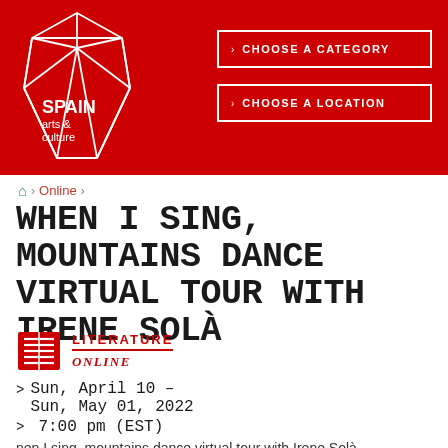[Figure (logo): Spain Arts & Culture logo — white geometric crystal shape outline on red background with text SPAIN arts & culture]
[Figure (other): Choose a Category dropdown button — white outlined rectangle on red background]
[Figure (other): Choose a Location dropdown button — white outlined rectangle on red background]
Home › Online ›
WHEN I SING, MOUNTAINS DANCE VIRTUAL TOUR WITH IRENE SOLÀ
LITERATURE
ONLINE
Sun, April 10 – Sun, May 01, 2022
7:00 pm (EST)
nen I sing, mountains dance virtual tour with Irene Solà